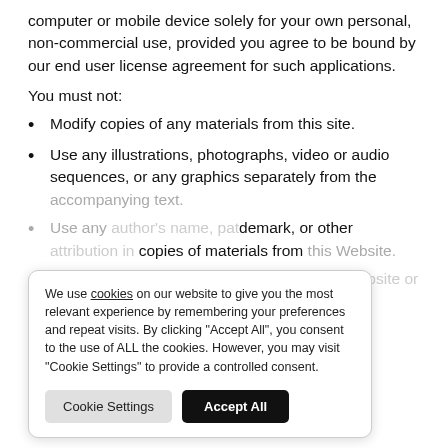computer or mobile device solely for your own personal, non-commercial use, provided you agree to be bound by our end user license agreement for such applications.
You must not:
Modify copies of any materials from this site.
Use any illustrations, photographs, video or audio sequences, or any graphics separately from the accompanying text.
Use any author's name, patent, trademark, or other attribution in copies of materials from this Website.
You must not access or use for any commercial purposes any part of the Website or any services or materials available through the Website.
We use cookies on our website to give you the most relevant experience by remembering your preferences and repeat visits. By clicking "Accept All", you consent to the use of ALL the cookies. However, you may visit "Cookie Settings" to provide a controlled consent.